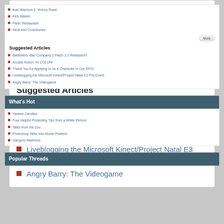Ikari Warriors 2: Victory Road
Kick Master
Panic Restaurant
Skull and Crossbones
Suggested Articles
Battlefield: Bad Company 2 Patch 1.1 Released!!!
Arcade Action: IN COLOR!
Thank You for Applying to be a Character in Our RPG!
Liveblogging the Microsoft Kinect/Project Natal E3 Pre-Event
Angry Barry: The Videogame
What's Hot
Yankee Candles
Four Helpful Protesting Tips from a White Person
Tales from the Zoo
Photoshop Hitler into Movie Posters!
Ganguro Madness
Popular Threads